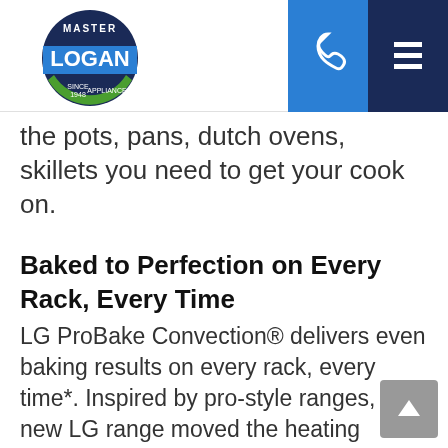Logan Master Appliance
the pots, pans, dutch ovens, skillets you need to get your cook on.
Baked to Perfection on Every Rack, Every Time
LG ProBake Convection® delivers even baking results on every rack, every time*. Inspired by pro-style ranges, this new LG range moved the heating element from the bottom of the oven to the back wall for optimal heat distribution.
10 Minutes. 1 Spotless Oven.
LG EasyClean® delivers the fastest oven-cleaning feature yet. In 10 quick minutes your oven can be sparkling clean, without